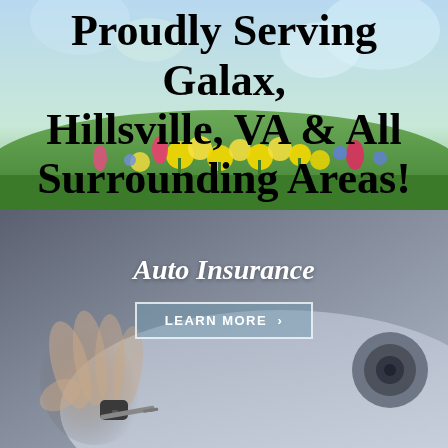[Figure (photo): Spring outdoor scene with colorful flowers (yellow daffodils, pink tulips, blue flowers) in a garden with green bokeh background. Bold black text overlay reads 'Proudly Serving Galax, Hillsville, VA & All Surrounding Areas!']
Proudly Serving Galax, Hillsville, VA & All Surrounding Areas!
[Figure (photo): Close-up photo of a hand holding a car key with a car door lock visible in the background. Dark blurred background with grey car surface. Text overlay: 'Auto Insurance' with a 'LEARN MORE >' button.]
Auto Insurance
LEARN MORE >